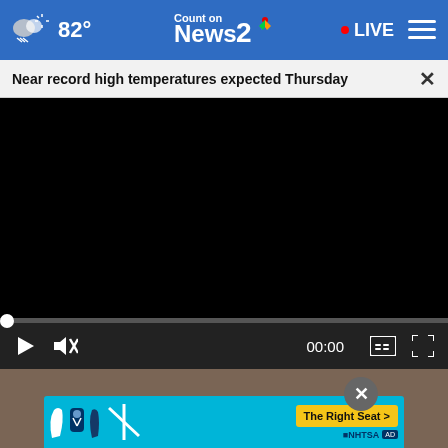82° Count on News 2 NBC — LIVE
Near record high temperatures expected Thursday
[Figure (screenshot): Black video player area with playback controls showing 00:00 timestamp, play button, mute button, captions button, and fullscreen button]
[Figure (screenshot): Advertisement banner showing car seat safety icons with text 'The Right Seat >' and NHTSA logo with close button overlay]